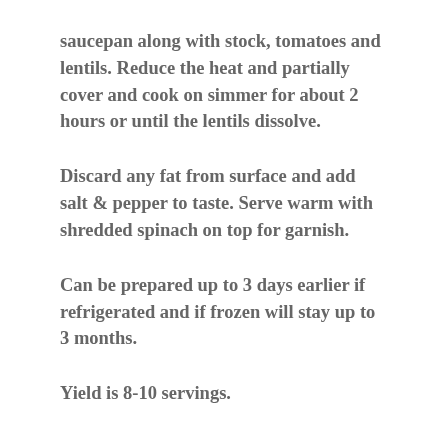saucepan along with stock, tomatoes and lentils. Reduce the heat and partially cover and cook on simmer for about 2 hours or until the lentils dissolve.
Discard any fat from surface and add salt & pepper to taste. Serve warm with shredded spinach on top for garnish.
Can be prepared up to 3 days earlier if refrigerated and if frozen will stay up to 3 months.
Yield is 8-10 servings.